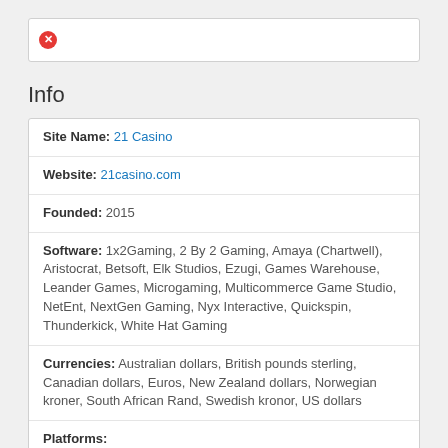[Figure (screenshot): Browser close/error button icon (red circle with white X)]
Info
| Site Name: | 21 Casino |
| Website: | 21casino.com |
| Founded: | 2015 |
| Software: | 1x2Gaming, 2 By 2 Gaming, Amaya (Chartwell), Aristocrat, Betsoft, Elk Studios, Ezugi, Games Warehouse, Leander Games, Microgaming, Multicommerce Game Studio, NetEnt, NextGen Gaming, Nyx Interactive, Quickspin, Thunderkick, White Hat Gaming |
| Currencies: | Australian dollars, British pounds sterling, Canadian dollars, Euros, New Zealand dollars, Norwegian kroner, South African Rand, Swedish kronor, US dollars |
| Platforms: |  |
| Support Options: | Live Chat, Support Phone, Support Mail |
| Languages: | English, Finnish, Norwegian, Russian, Swedish |